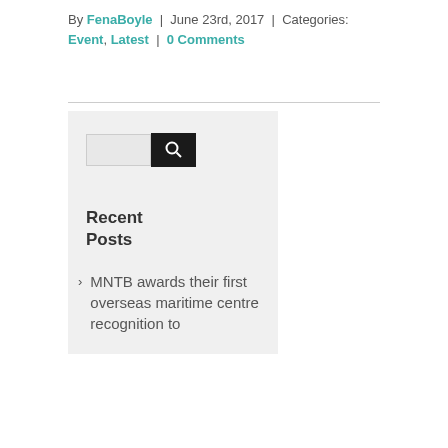By FenaBoyle | June 23rd, 2017 | Categories: Event, Latest | 0 Comments
Recent Posts
MNTB awards their first overseas maritime centre recognition to